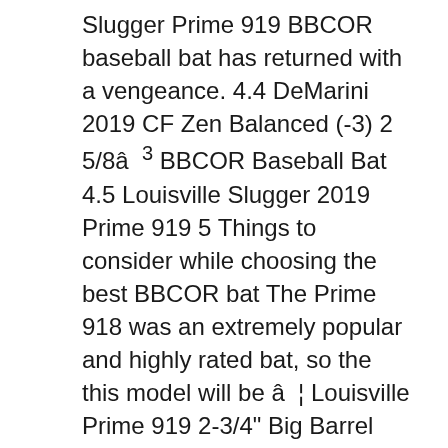Slugger Prime 919 BBCOR baseball bat has returned with a vengeance. 4.4 DeMarini 2019 CF Zen Balanced (-3) 2 5/8â³ BBCOR Baseball Bat 4.5 Louisville Slugger 2019 Prime 919 5 Things to consider while choosing the best BBCOR bat The Prime 918 was an extremely popular and highly rated bat, so the this model will be â¦ Louisville Prime 919 2-3/4" Big Barrel USSSA Bat WTLSLP919X10 -10oz (2019) : *Æ uÄ±ddÄ±É¥s Ç Ç É¹É : Features: 3-PIECE COMPOSITE -- NEW ADV MICROFORM: Barrel features an advanced construction that maximizes barrel size while maintaining maximum performance and pop on contact PATENTED VCX TECHNOLOGY: That allows for independent movement between the barrel and the handle that â¦ Click Image for Gallery. The new Prime 919 returns with a vengeance.The pinnacle of performance engineered to perfection, this bat is